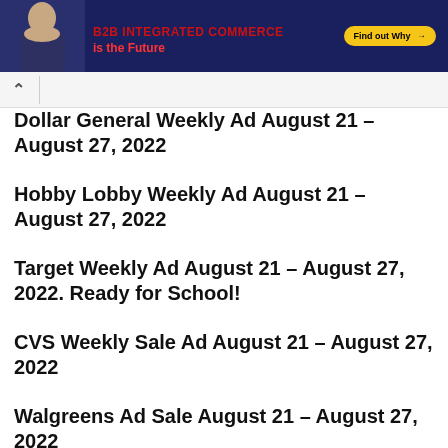[Figure (infographic): Advertisement banner with dark navy background, a smiling man on the left, red bold text 'is the Future', and a yellow 'Find out Why →' button on the right]
Dollar General Weekly Ad August 21 – August 27, 2022
Hobby Lobby Weekly Ad August 21 – August 27, 2022
Target Weekly Ad August 21 – August 27, 2022. Ready for School!
CVS Weekly Sale Ad August 21 – August 27, 2022
Walgreens Ad Sale August 21 – August 27, 2022